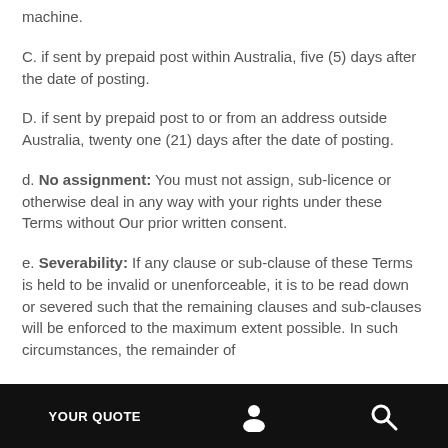machine.
C. if sent by prepaid post within Australia, five (5) days after the date of posting.
D. if sent by prepaid post to or from an address outside Australia, twenty one (21) days after the date of posting.
d. No assignment: You must not assign, sub-licence or otherwise deal in any way with your rights under these Terms without Our prior written consent.
e. Severability: If any clause or sub-clause of these Terms is held to be invalid or unenforceable, it is to be read down or severed such that the remaining clauses and sub-clauses will be enforced to the maximum extent possible. In such circumstances, the remainder of
YOUR QUOTE